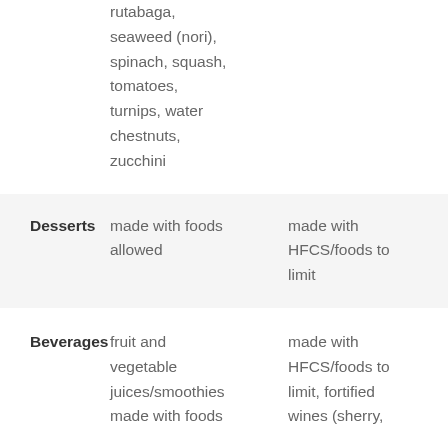| Category | Allowed | To Limit |
| --- | --- | --- |
|  | rutabaga, seaweed (nori), spinach, squash, tomatoes, turnips, water chestnuts, zucchini |  |
| Desserts | made with foods allowed | made with HFCS/foods to limit |
| Beverages | fruit and vegetable juices/smoothies made with foods | made with HFCS/foods to limit, fortified wines (sherry, |